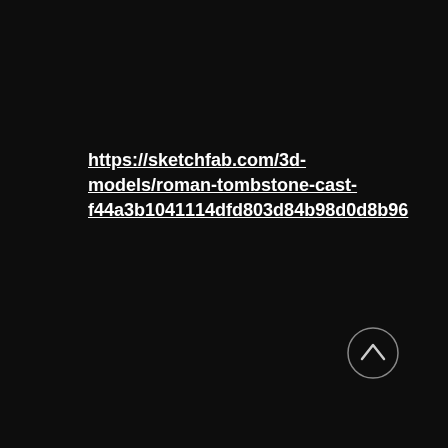https://sketchfab.com/3d-models/roman-tombstone-cast-f44a3b1041114dfd803d84b98d0d8b96
[Figure (other): Circular scroll-to-top button with an upward-pointing chevron arrow, shown in the bottom-right corner on a dark background.]